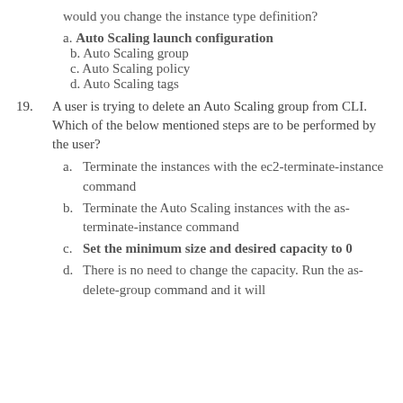would you change the instance type definition?
a. Auto Scaling launch configuration
b. Auto Scaling group
c. Auto Scaling policy
d. Auto Scaling tags
19. A user is trying to delete an Auto Scaling group from CLI. Which of the below mentioned steps are to be performed by the user?
a. Terminate the instances with the ec2-terminate-instance command
b. Terminate the Auto Scaling instances with the as-terminate-instance command
c. Set the minimum size and desired capacity to 0
d. There is no need to change the capacity. Run the as-delete-group command and it will